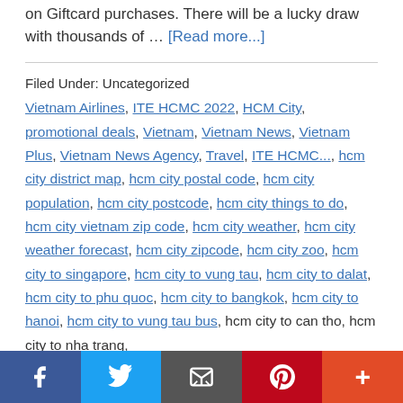on Giftcard purchases. There will be a lucky draw with thousands of … [Read more...]
Filed Under: Uncategorized
Vietnam Airlines, ITE HCMC 2022, HCM City, promotional deals, Vietnam, Vietnam News, Vietnam Plus, Vietnam News Agency, Travel, ITE HCMC..., hcm city district map, hcm city postal code, hcm city population, hcm city postcode, hcm city things to do, hcm city vietnam zip code, hcm city weather, hcm city weather forecast, hcm city zipcode, hcm city zoo, hcm city to singapore, hcm city to vung tau, hcm city to dalat, hcm city to phu quoc, hcm city to bangkok, hcm city to hanoi, hcm city to vung tau bus, hcm city to can tho, hcm city to nha trang,
Social share bar: Facebook, Twitter, Email, Pinterest, More